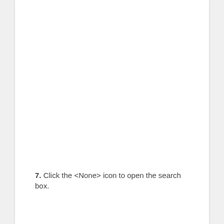7. Click the <None> icon to open the search box.